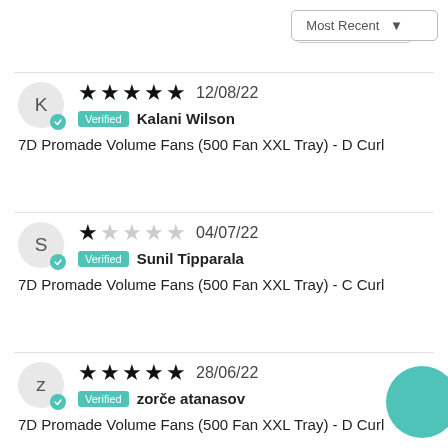Most Recent ▼
★★★★★ 12/08/22 Verified Kalani Wilson — 7D Promade Volume Fans (500 Fan XXL Tray) - D Curl
★☆☆☆☆ 04/07/22 Verified Sunil Tipparala — 7D Promade Volume Fans (500 Fan XXL Tray) - C Curl
★★★★★ 28/06/22 Verified zorče atanasov — 7D Promade Volume Fans (500 Fan XXL Tray) - D Curl